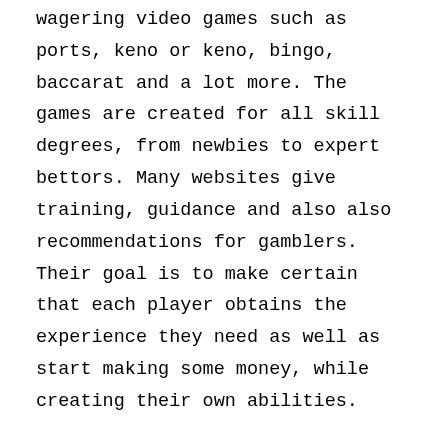wagering video games such as ports, keno or keno, bingo, baccarat and a lot more. The games are created for all skill degrees, from newbies to expert bettors. Many websites give training, guidance and also also recommendations for gamblers. Their goal is to make certain that each player obtains the experience they need as well as start making some money, while creating their own abilities.
There is no legal requirement that Web betting take place similarly as it would occur in a real online casino. Some of the practices that might be unlawful in a real gambling enterprise consist of however are not restricted to: the carrying of illegal weapons (consisting of weapons like guns or blades), the use of phony chips or coins, the arrangement of pc gaming